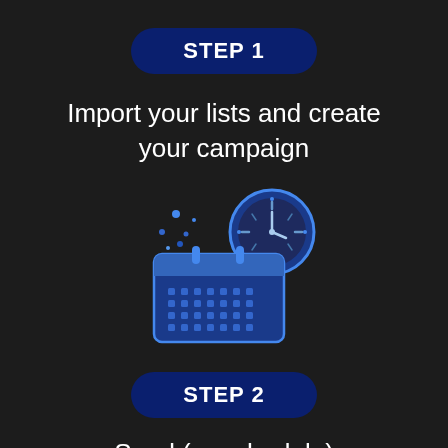STEP 1
Import your lists and create your campaign
[Figure (illustration): Calendar with clock icon, dots scattered around, blue color scheme on dark background]
STEP 2
Send (or schedule) Your Campaigns